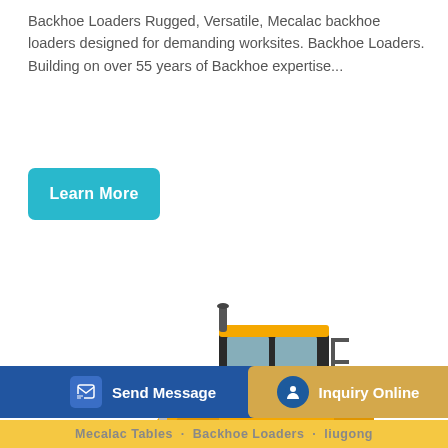Backhoe Loaders Rugged, Versatile, Mecalac backhoe loaders designed for demanding worksites. Backhoe Loaders. Building on over 55 years of Backhoe expertise...
[Figure (illustration): A yellow LiuGong wheel loader (front loader) with a large black bucket, shown on a white background]
Send Message   Inquiry Online   Mecalac Tables - Backhoe Loaders - liogong